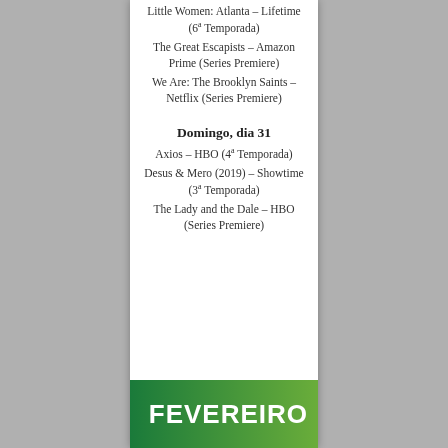Little Women: Atlanta – Lifetime (6ª Temporada)
The Great Escapists – Amazon Prime (Series Premiere)
We Are: The Brooklyn Saints – Netflix (Series Premiere)
Domingo, dia 31
Axios – HBO (4ª Temporada)
Desus & Mero (2019) – Showtime (3ª Temporada)
The Lady and the Dale – HBO (Series Premiere)
[Figure (photo): Banner image with two figures (man and woman in superhero costumes) on a green gradient background with bold white text reading FEVEREIRO]